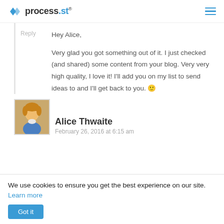process.st
Reply
Hey Alice,

Very glad you got something out of it. I just checked (and shared) some content from your blog. Very very high quality, I love it! I'll add you on my list to send ideas to and I'll get back to you. 🙂
Alice Thwaite
February 26, 2016 at 6:15 am
We use cookies to ensure you get the best experience on our site. Learn more
Got it